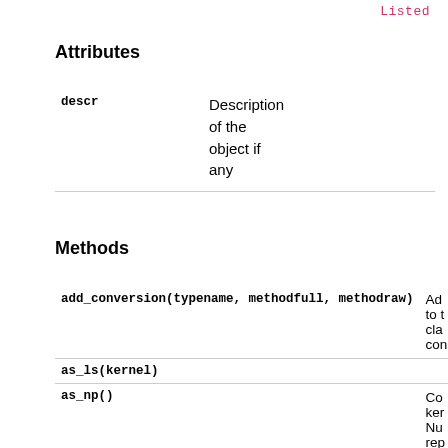Listed
Attributes
|  |  |
| --- | --- |
| descr | Description of the object if any |
Methods
|  |  |
| --- | --- |
| add_conversion(typename, methodfull, methodraw) | Ad to cla con |
| as_ls(kernel) |  |
| as_np() | Co ker Nu rep |
| as_raw_ls(kernel) |  |